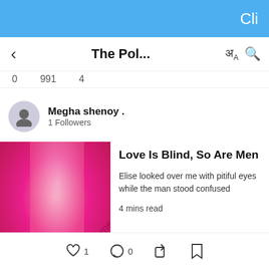Cli
The Pol...
0  991  4
Megha shenoy .
1 Followers
[Figure (illustration): Pink gradient book cover with text 'love is blind so are men' written diagonally and small heart shapes]
Love Is Blind, So Are Men
Elise looked over me with pitiful eyes while the man stood confused
4 mins read
♡ 1   ○ 0   share   bookmark